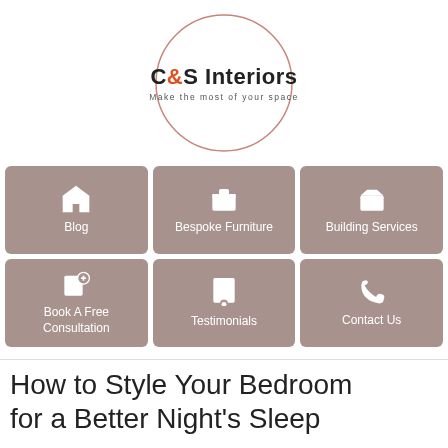[Figure (logo): C&S Interiors logo inside a circular outline. Text reads 'C&S Interiors' with '&' in orange/red, and tagline 'Make the most of your space']
[Figure (infographic): Navigation grid with 6 buttons: Blog, Bespoke Furniture, Building Services, Book A Free Consultation, Testimonials, Contact Us — all with icons on mauve/rose background]
How to Style Your Bedroom for a Better Night's Sleep